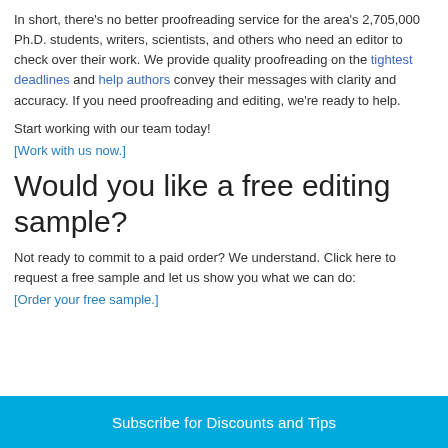In short, there's no better proofreading service for the area's 2,705,000 Ph.D. students, writers, scientists, and others who need an editor to check over their work. We provide quality proofreading on the tightest deadlines and help authors convey their messages with clarity and accuracy. If you need proofreading and editing, we're ready to help.
Start working with our team today!
[Work with us now.]
Would you like a free editing sample?
Not ready to commit to a paid order? We understand. Click here to request a free sample and let us show you what we can do:
[Order your free sample.]
Subscribe for Discounts and Tips